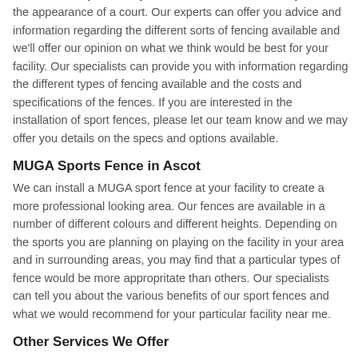overall look of your facility. A new fence can dramatically enhance the appearance of a court. Our experts can offer you advice and information regarding the different sorts of fencing available and we'll offer our opinion on what we think would be best for your facility. Our specialists can provide you with information regarding the different types of fencing available and the costs and specifications of the fences. If you are interested in the installation of sport fences, please let our team know and we may offer you details on the specs and options available.
MUGA Sports Fence in Ascot
We can install a MUGA sport fence at your facility to create a more professional looking area. Our fences are available in a number of different colours and different heights. Depending on the sports you are planning on playing on the facility in your area and in surrounding areas, you may find that a particular types of fence would be more appropritate than others. Our specialists can tell you about the various benefits of our sport fences and what we would recommend for your particular facility near me.
Other Services We Offer